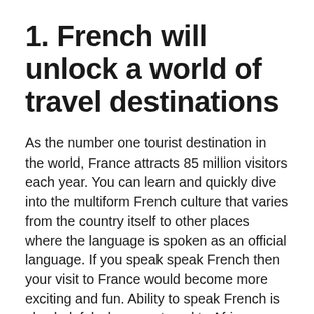1. French will unlock a world of travel destinations
As the number one tourist destination in the world, France attracts 85 million visitors each year. You can learn and quickly dive into the multiform French culture that varies from the country itself to other places where the language is spoken as an official language. If you speak speak French then your visit to France would become more exciting and fun. Ability to speak French is also helpful when you travel to Africa, Switzerland, Monaco and other French speaking countries.
2. A...